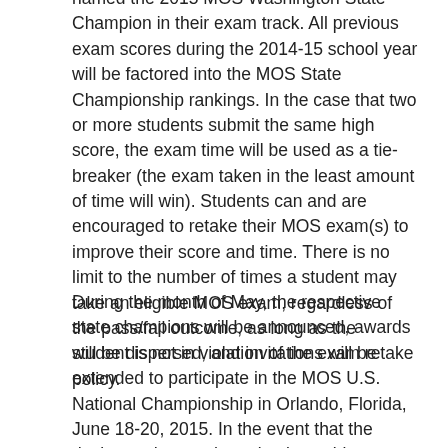named the 2015 MOS Washington State Champion in their exam track. All previous exam scores during the 2014-15 school year will be factored into the MOS State Championship rankings. In the case that two or more students submit the same high score, the exam time will be used as a tie-breaker (the exam taken in the least amount of time will win). Students can and are encouraged to retake their MOS exam(s) to improve their score and time. There is no limit to the number of times a student may take an eligible MOS exam, regardless of the pass/fail outcome, as long as the student is not in violation of the exam retake policy.
During the month of May, the respective state champions will be announced, awards will be dispersed, and invitations will be extended to participate in the MOS U.S. National Championship in Orlando, Florida, June 18-20, 2015. In the event that the designated state champion is unable to attend the MOS U.S. National Championship, the second place winner will be contacted and extended the invitation to